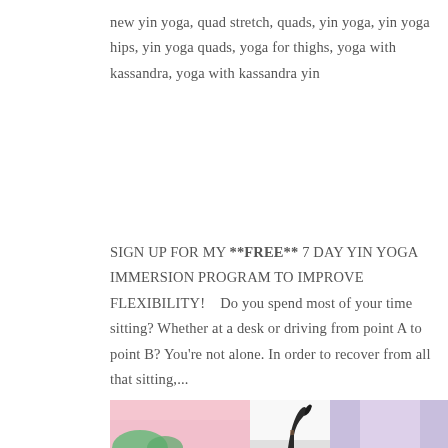new yin yoga, quad stretch, quads, yin yoga, yin yoga hips, yin yoga quads, yoga for thighs, yoga with kassandra, yoga with kassandra yin
SIGN UP FOR MY **FREE** 7 DAY YIN YOGA IMMERSION PROGRAM TO IMPROVE FLEXIBILITY!   Do you spend most of your time sitting? Whether at a desk or driving from point A to point B? You're not alone. In order to recover from all that sitting,...
[Figure (photo): Partial view of a yoga/wellness photo strip showing three images side by side: left image with pink background and green plant element, center image with a person's arm/hand raised against white background, right image with purple/blue background]